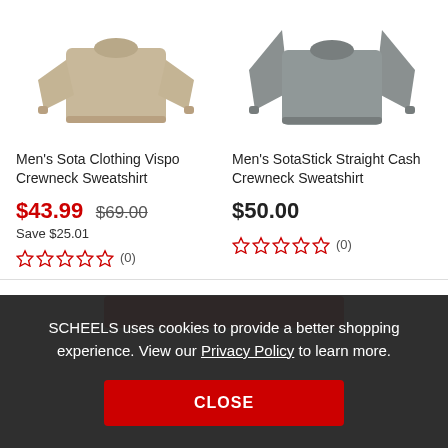[Figure (photo): Tan/beige men's crewneck sweatshirt product photo, upper portion visible]
[Figure (photo): Gray men's crewneck sweatshirt product photo, upper portion visible]
Men's Sota Clothing Vispo Crewneck Sweatshirt
Men's SotaStick Straight Cash Crewneck Sweatshirt
$43.99  $69.00
Save $25.01
$50.00
☆☆☆☆☆ (0)
☆☆☆☆☆ (0)
SCHEELS uses cookies to provide a better shopping experience. View our Privacy Policy to learn more.
CLOSE